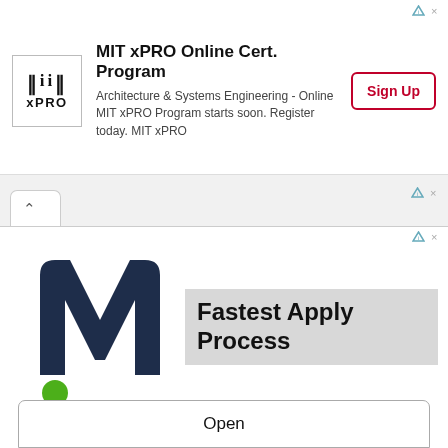[Figure (screenshot): MIT xPRO logo — bold serif text reading 'MIT' with 'xPRO' below, inside a bordered box]
MIT xPRO Online Cert. Program
Architecture & Systems Engineering - Online MIT xPRO Program starts soon. Register today. MIT xPRO
Sign Up
[Figure (logo): Monster.com stylized dark-blue M logo with green dot at bottom left]
Fastest Apply Process
Finding high paying travel RN jobs is easy with our traveler app
Medical Solutions
Open